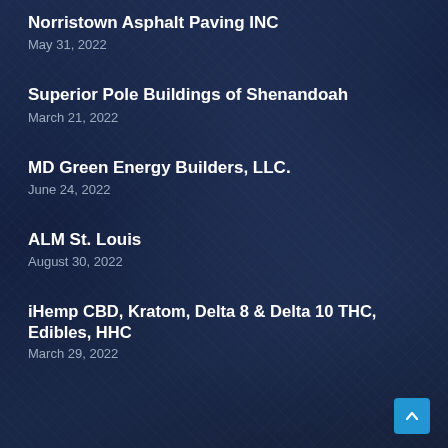Norristown Asphalt Paving INC
May 31, 2022
Superior Pole Buildings of Shenandoah
March 21, 2022
MD Green Energy Builders, LLC.
June 24, 2022
ALM St. Louis
August 30, 2022
iHemp CBD, Kratom, Delta 8 & Delta 10 THC, Edibles, HHC
March 29, 2022